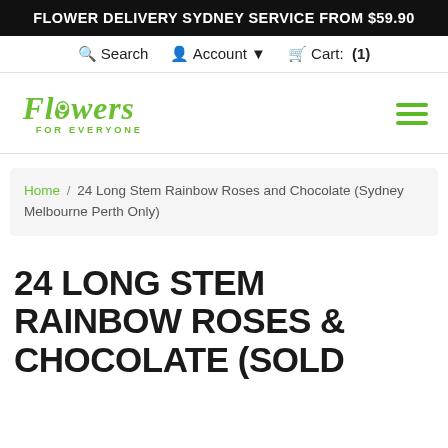FLOWER DELIVERY SYDNEY SERVICE FROM $59.90
Search  Account  Cart: (1)
[Figure (logo): Flowers For Everyone green script logo]
Home / 24 Long Stem Rainbow Roses and Chocolate (Sydney Melbourne Perth Only)
24 LONG STEM RAINBOW ROSES & CHOCOLATE (SOLD